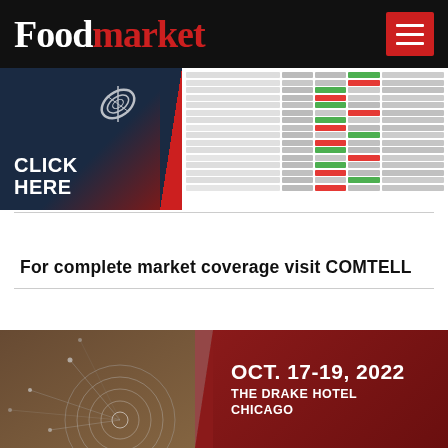Foodmarket
[Figure (screenshot): Banner advertisement showing CLICK HERE text on dark blue/red background with grain icon, alongside a market data table screenshot]
For complete market coverage visit COMTELL
[Figure (illustration): Bottom banner advertisement showing OCT. 17-19, 2022 THE DRAKE HOTEL CHICAGO text on dark red background with tech/circuit illustration on left]